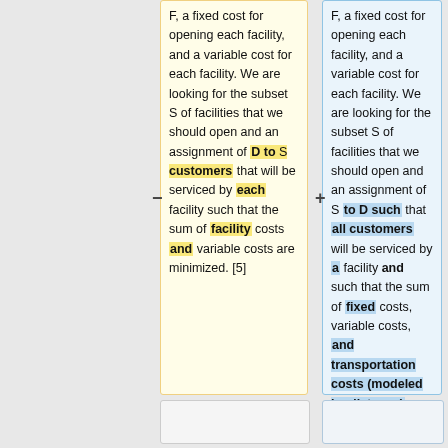F, a fixed cost for opening each facility, and a variable cost for each facility. We are looking for the subset S of facilities that we should open and an assignment of D to S customers that will be serviced by each facility such that the sum of facility costs and variable costs are minimized. [5]
F, a fixed cost for opening each facility, and a variable cost for each facility. We are looking for the subset S of facilities that we should open and an assignment of S to D such that all customers will be serviced by a facility and such that the sum of fixed costs, variable costs, and transportation costs (modeled by distance) are minimized. [5]